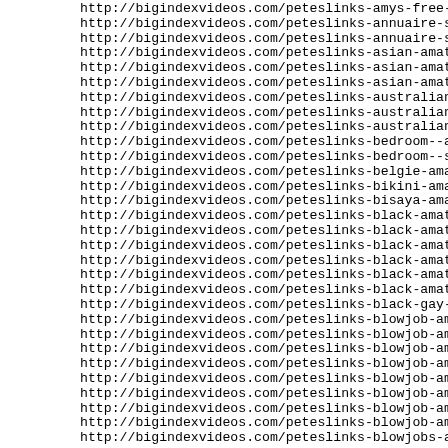http://bigindexvideos.com/peteslinks-amys-free-amateur-por
http://bigindexvideos.com/peteslinks-annuaire-sex-amateur-g
http://bigindexvideos.com/peteslinks-annuaire-sex-amateur.h
http://bigindexvideos.com/peteslinks-asian-amateur-porn.htm
http://bigindexvideos.com/peteslinks-asian-amatuer-sex.html
http://bigindexvideos.com/peteslinks-asian-amature-sex.html
http://bigindexvideos.com/peteslinks-australian-amateur-por
http://bigindexvideos.com/peteslinks-australian-amateur-sex
http://bigindexvideos.com/peteslinks-australian-amatuer-por
http://bigindexvideos.com/peteslinks-bedroom--amateur-sex.h
http://bigindexvideos.com/peteslinks-bedroom--sex-amateur.h
http://bigindexvideos.com/peteslinks-belgie-amateurs-sex.ht
http://bigindexvideos.com/peteslinks-bikini-amateurs-of-pen
http://bigindexvideos.com/peteslinks-bisaya-amatuer-porn.ht
http://bigindexvideos.com/peteslinks-black-amateur-dvd.html
http://bigindexvideos.com/peteslinks-black-amateur-porn.htm
http://bigindexvideos.com/peteslinks-black-amateur-sex-vide
http://bigindexvideos.com/peteslinks-black-amateur-sex.html
http://bigindexvideos.com/peteslinks-black-amatuer-sex.html
http://bigindexvideos.com/peteslinks-black-amature-porn.htm
http://bigindexvideos.com/peteslinks-black-gay-amateur.html
http://bigindexvideos.com/peteslinks-blowjob-amateur-free.h
http://bigindexvideos.com/peteslinks-blowjob-amateur-galler
http://bigindexvideos.com/peteslinks-blowjob-amateur-movie.
http://bigindexvideos.com/peteslinks-blowjob-amateur-movies
http://bigindexvideos.com/peteslinks-blowjob-amateur-mpegs.
http://bigindexvideos.com/peteslinks-blowjob-amateur-pics.h
http://bigindexvideos.com/peteslinks-blowjob-amateur-video.
http://bigindexvideos.com/peteslinks-blowjob-amateur.html
http://bigindexvideos.com/peteslinks-blowjobs-amateur.htm